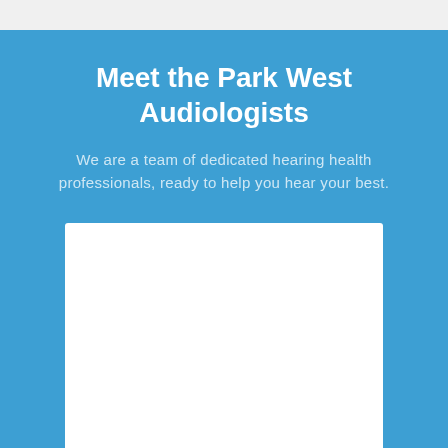Meet the Park West Audiologists
We are a team of dedicated hearing health professionals, ready to help you hear your best.
[Figure (other): White rectangular card/image placeholder area on a blue background]